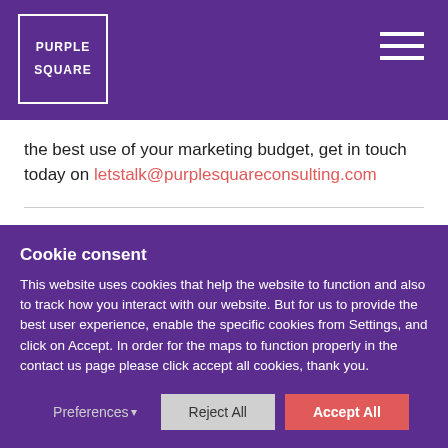PURPLE SQUARE
the best use of your marketing budget, get in touch today on letstalk@purplesquareconsulting.com
By: Purple Square
Cookie consent
This website uses cookies that help the website to function and also to track how you interact with our website. But for us to provide the best user experience, enable the specific cookies from Settings, and click on Accept. In order for the maps to function properly in the contact us page please click accept all cookies, thank you.